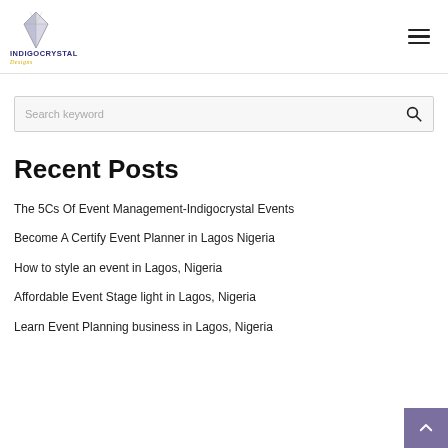INDIGOCRYSTAL (logo with navigation hamburger menu)
Search keyword
Recent Posts
The 5Cs Of Event Management-Indigocrystal Events
Become A Certify Event Planner in Lagos Nigeria
How to style an event in Lagos, Nigeria
Affordable Event Stage light in Lagos, Nigeria
Learn Event Planning business in Lagos, Nigeria